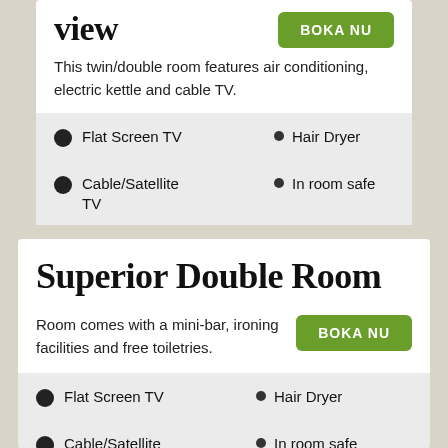view
This twin/double room features air conditioning, electric kettle and cable TV.
Flat Screen TV
Hair Dryer
Mini-Bar
Cable/Satellite TV
In room safe
Superior Double Room
Room comes with a mini-bar, ironing facilities and free toiletries.
Flat Screen TV
Hair Dryer
Mini-Bar
Cable/Satellite TV
In room safe